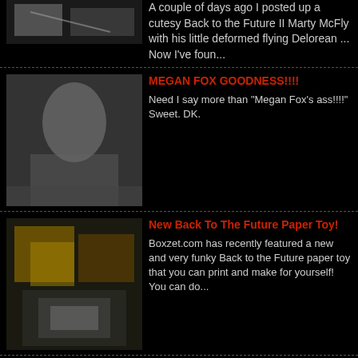A couple of days ago I posted up a cutesy Back to the Future II Marty McFly with his little deformed flying Delorean ... Now I've foun...
MEGAN FOX GOODNESS!!!!
Need I say more than "Megan Fox's ass!!!!" Sweet. DK.
New Back To The Future Paper Toy!
Boxzet.com has recently featured a new and very funky Back to the Future paper toy that you can print and make for yourself! You can do...
Cheryl Cole - New Photoshoot For Absynth
Do I know what Absynth is? Do I care? The answer to both questions is no, all I care is that Cheryl is in a hot